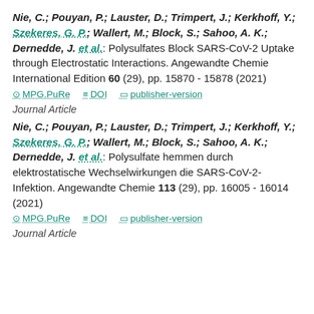Nie, C.; Pouyan, P.; Lauster, D.; Trimpert, J.; Kerkhoff, Y.; Szekeres, G. P.; Wallert, M.; Block, S.; Sahoo, A. K.; Dernedde, J. et al.: Polysulfates Block SARS-CoV-2 Uptake through Electrostatic Interactions. Angewandte Chemie International Edition 60 (29), pp. 15870 - 15878 (2021)
MPG.PuRe   DOI   publisher-version
Journal Article
Nie, C.; Pouyan, P.; Lauster, D.; Trimpert, J.; Kerkhoff, Y.; Szekeres, G. P.; Wallert, M.; Block, S.; Sahoo, A. K.; Dernedde, J. et al.: Polysulfate hemmen durch elektrostatische Wechselwirkungen die SARS-CoV-2-Infektion. Angewandte Chemie 113 (29), pp. 16005 - 16014 (2021)
MPG.PuRe   DOI   publisher-version
Journal Article